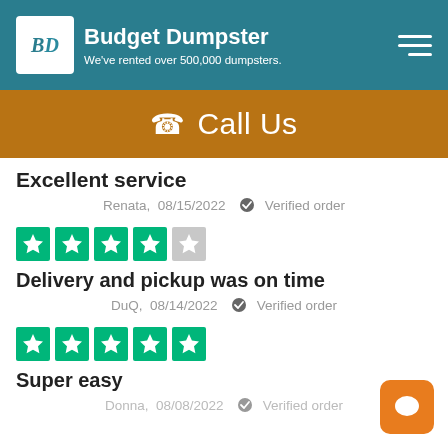Budget Dumpster — We've rented over 500,000 dumpsters.
📞 Call Us
Excellent service
Renata,  08/15/2022  ✓ Verified order
[Figure (other): 4 out of 5 stars Trustpilot rating (green stars)]
Delivery and pickup was on time
DuQ,  08/14/2022  ✓ Verified order
[Figure (other): 5 out of 5 stars Trustpilot rating (green stars)]
Super easy
Donna,  08/08/2022  ✓ Verified order